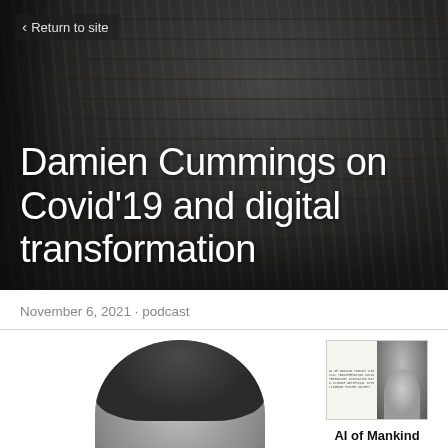Return to site
Damien Cummings on Covid'19 and digital transformation
November 6, 2021 · podcast
[Figure (photo): Black and white headshot photo of a man (top of head visible), with a podcast logo thumbnail for 'AI of Mankind' in the upper right corner]
AI of Mankind